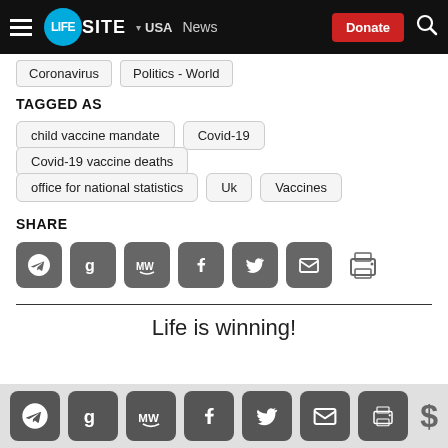LifeSite — USA — News — Donate — Search
Coronavirus
Politics - World
TAGGED AS
child vaccine mandate
Covid-19
Covid-19 vaccine deaths
office for national statistics
Uk
Vaccines
SHARE
[Figure (infographic): Share icons: Telegram, Gab, MeWe, Facebook, Twitter, Email, Print]
Life is winning!
[Figure (infographic): Bottom bar share icons: Telegram, Gab, MeWe, Facebook, Twitter, Email, Print, and dollar sign donate button]